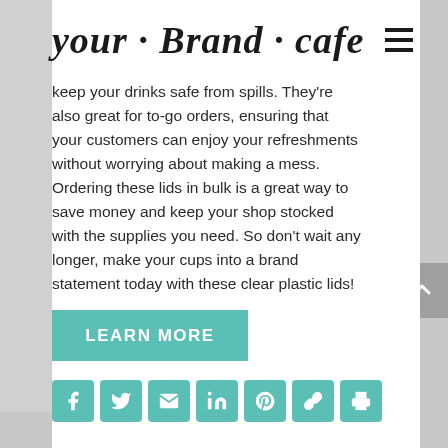your · Brand · Cafe
keep your drinks safe from spills. They're also great for to-go orders, ensuring that your customers can enjoy your refreshments without worrying about making a mess. Ordering these lids in bulk is a great way to save money and keep your shop stocked with the supplies you need. So don't wait any longer, make your cups into a brand statement today with these clear plastic lids!
LEARN MORE
[Figure (infographic): Row of teal social media share icons: Facebook, Twitter, Email, LinkedIn, Pinterest, Link, Print]